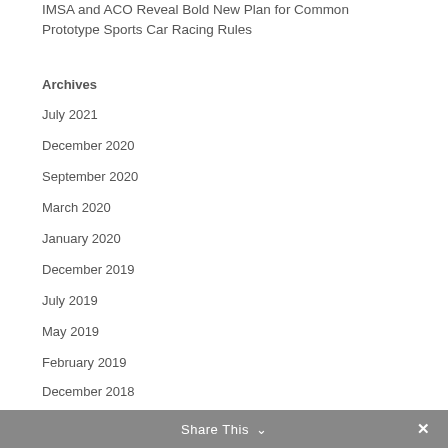IMSA and ACO Reveal Bold New Plan for Common Prototype Sports Car Racing Rules
Archives
July 2021
December 2020
September 2020
March 2020
January 2020
December 2019
July 2019
May 2019
February 2019
December 2018
November 2018
July 2018
Share This ∨  ✕